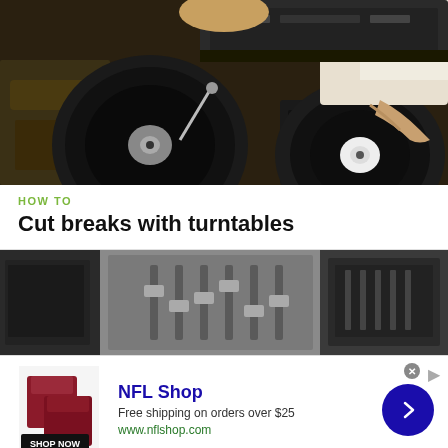[Figure (photo): DJ operating turntables and mixing equipment, viewed from above. Man in white t-shirt scratching records on dual turntables with a DJ mixer in the center.]
HOW TO
Cut breaks with turntables
[Figure (photo): Close-up blurred/grainy image of audio equipment, possibly faders or audio board controls in dark grey tones.]
[Figure (screenshot): Advertisement for NFL Shop. Shows red NFL merchandise/clothing items. Text: NFL Shop, Free shipping on orders over $25, www.nflshop.com. Has a SHOP NOW button and a blue circle arrow button.]